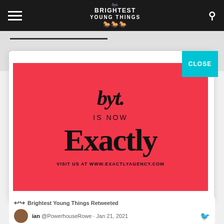Brightest Young Things - BYT navigation bar
[Figure (screenshot): BYT is now Exactly agency advertisement. Pink/red background with script BYT logo, text 'IS NOW', large serif 'Exactly', and 'VISIT US AT WWW.EXACTLYAGENCY.COM'. A cyan CLOSE button appears top right.]
Brightest Young Things Retweeted
ian @PowerhouseRowe · Jan 21, 2021